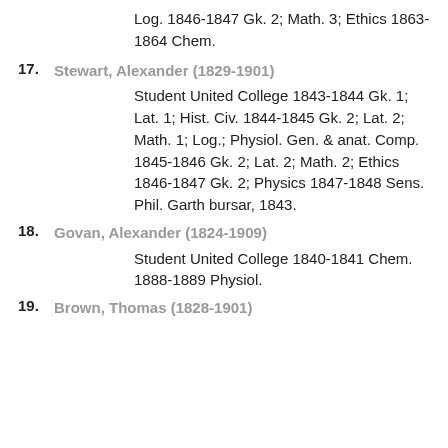Log. 1846-1847 Gk. 2; Math. 3; Ethics 1863-1864 Chem.
17. Stewart, Alexander (1829-1901) Student United College 1843-1844 Gk. 1; Lat. 1; Hist. Civ. 1844-1845 Gk. 2; Lat. 2; Math. 1; Log.; Physiol. Gen. & anat. Comp. 1845-1846 Gk. 2; Lat. 2; Math. 2; Ethics 1846-1847 Gk. 2; Physics 1847-1848 Sens. Phil. Garth bursar, 1843.
18. Govan, Alexander (1824-1909) Student United College 1840-1841 Chem. 1888-1889 Physiol.
19. Brown, Thomas (1828-1901)